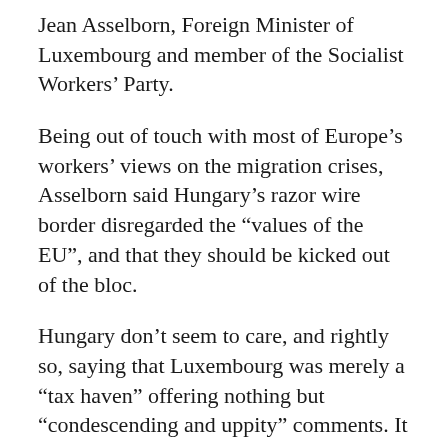Jean Asselborn, Foreign Minister of Luxembourg and member of the Socialist Workers’ Party.
Being out of touch with most of Europe’s workers’ views on the migration crises, Asselborn said Hungary’s razor wire border disregarded the “values of the EU”, and that they should be kicked out of the bloc.
Hungary don’t seem to care, and rightly so, saying that Luxembourg was merely a “tax haven” offering nothing but “condescending and uppity” comments. It seems those in the beleaguered East are Hungary for some independence, they have a referendum on migrant quotas next month, and TCW has a rough idea of how it might turn out…